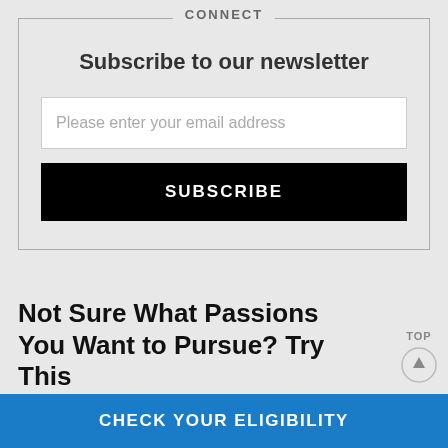CONNECT
Subscribe to our newsletter
Please enter your email address
SUBSCRIBE
Not Sure What Passions You Want to Pursue? Try This
TOP
CHECK YOUR ELIGIBILITY